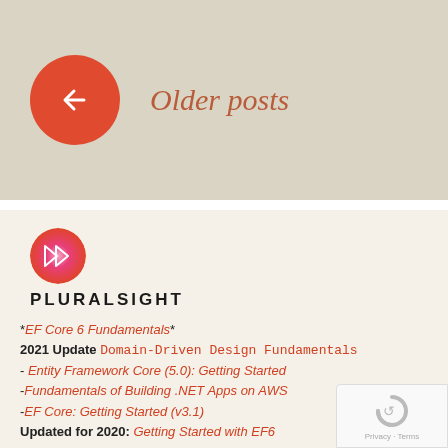[Figure (illustration): Red circle with left-pointing arrow, next to italic text 'Older posts' on a beige/tan background — a blog pagination navigation element.]
Older posts
[Figure (logo): Pluralsight logo: circular gradient icon (pink/red/orange) with double-triangle play icon, and PLURALSIGHT wordmark below in bold uppercase letters.]
*EF Core 6 Fundamentals*
2021 Update Domain-Driven Design Fundamentals
- Entity Framework Core (5.0): Getting Started
-Fundamentals of Building .NET Apps on AWS
-EF Core: Getting Started (v3.1)
Updated for 2020: Getting Started with EF6